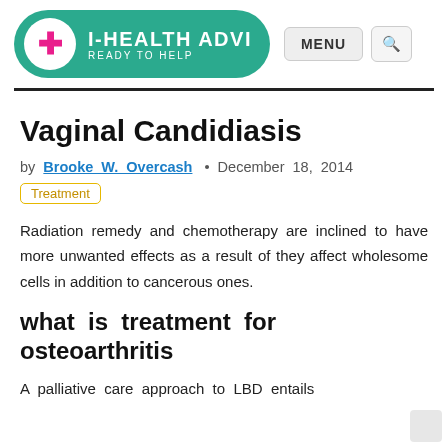[Figure (logo): I-Health Advice website header logo with green pill shape, pink cross icon, site name 'I-HEALTH ADVI[CE]' and tagline 'READY TO HELP', plus MENU and search buttons]
Vaginal Candidiasis
by Brooke W. Overcash • December 18, 2014
Treatment
Radiation remedy and chemotherapy are inclined to have more unwanted effects as a result of they affect wholesome cells in addition to cancerous ones.
what is treatment for osteoarthritis
A palliative care approach to LBD entails